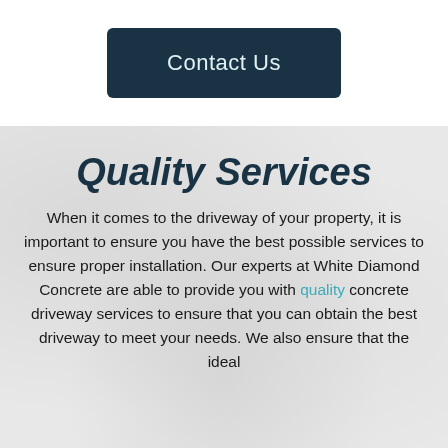[Figure (other): Contact Us button — a dark navy rounded rectangle button with light text reading 'Contact Us']
Quality Services
When it comes to the driveway of your property, it is important to ensure you have the best possible services to ensure proper installation. Our experts at White Diamond Concrete are able to provide you with quality concrete driveway services to ensure that you can obtain the best driveway to meet your needs. We also ensure that the ideal